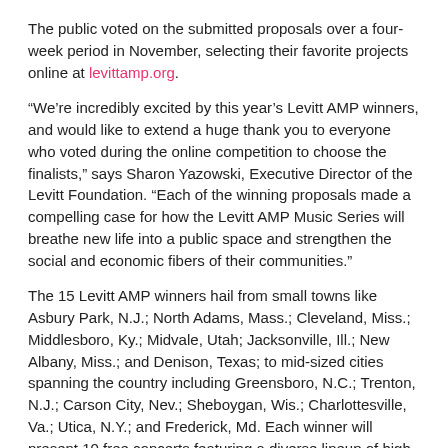The public voted on the submitted proposals over a four-week period in November, selecting their favorite projects online at levittamp.org.
“We’re incredibly excited by this year’s Levitt AMP winners, and would like to extend a huge thank you to everyone who voted during the online competition to choose the finalists,” says Sharon Yazowski, Executive Director of the Levitt Foundation. “Each of the winning proposals made a compelling case for how the Levitt AMP Music Series will breathe new life into a public space and strengthen the social and economic fibers of their communities.”
The 15 Levitt AMP winners hail from small towns like Asbury Park, N.J.; North Adams, Mass.; Cleveland, Miss.; Middlesboro, Ky.; Midvale, Utah; Jacksonville, Ill.; New Albany, Miss.; and Denison, Texas; to mid-sized cities spanning the country including Greensboro, N.C.; Trenton, N.J.; Carson City, Nev.; Sheboygan, Wis.; Charlottesville, Va.; Utica, N.Y.; and Frederick, Md. Each winner will present 10 free concerts featuring a diverse lineup of high caliber entertainment in 2016 as part of the Levitt AMP Music Series, for a total of 150 free Levitt AMP concerts.
Below is the full list of this year’s Levitt AMP [Your City] Grant Awards winners (in alphabetical order):